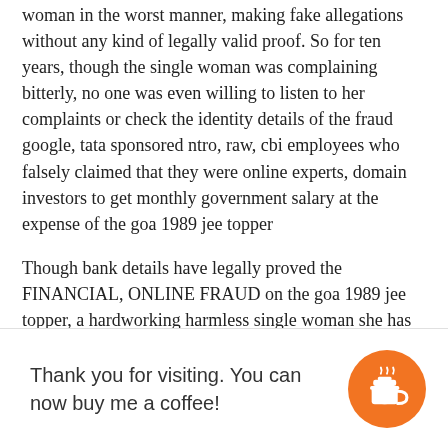woman in the worst manner, making fake allegations without any kind of legally valid proof. So for ten years, though the single woman was complaining bitterly, no one was even willing to listen to her complaints or check the identity details of the fraud google, tata sponsored ntro, raw, cbi employees who falsely claimed that they were online experts, domain investors to get monthly government salary at the expense of the goa 1989 jee topper
Though bank details have legally proved the FINANCIAL, ONLINE FRAUD on the goa 1989 jee topper, a hardworking harmless single woman she has not [obscured] criminal defama[tion] [obscured] e worsen[ing] [obscured] in , high l[evel] [obscured] dia
Thank you for visiting. You can now buy me a coffee!